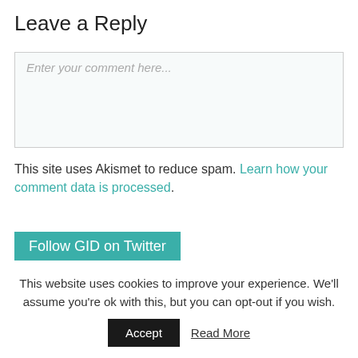Leave a Reply
Enter your comment here...
This site uses Akismet to reduce spam. Learn how your comment data is processed.
Follow GID on Twitter
Tweets from @GIDMagazine  Follow
This website uses cookies to improve your experience. We'll assume you're ok with this, but you can opt-out if you wish.